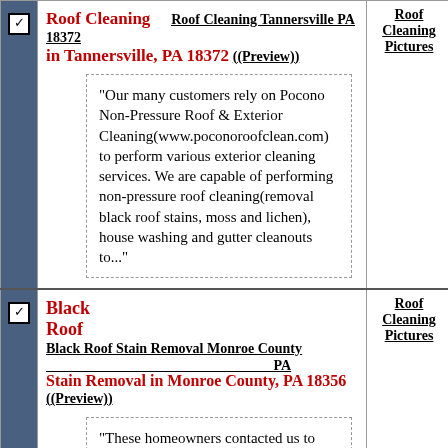Roof Cleaning   Roof Cleaning Tannersville PA 18372 in Tannersville, PA 18372 (Preview)
“Our many customers rely on Pocono Non-Pressure Roof & Exterior Cleaning(www.poconoroofclean.com) to perform various exterior cleaning services. We are capable of performing non-pressure roof cleaning(removal black roof stains, moss and lichen), house washing and gutter cleanouts to...”
Roof Cleaning Pictures
Black Roof Stain Removal   Black Roof Stain Removal Monroe County PA Stain Removal in Monroe County, PA 18356 (Preview)
“These homeowners contacted us to perform the removal of the black roof stains from their home in East Stroudsburg, PA 18356. Pocono Non-Pressure Roof & Exterior Cleaning dispatched our technicians to
Roof Cleaning Pictures